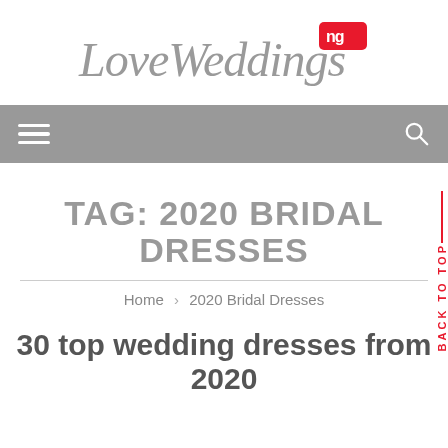[Figure (logo): LoveWeddings.ng logo in cursive script with 'ng' in red rounded badge]
Navigation bar with hamburger menu and search icon
TAG: 2020 BRIDAL DRESSES
Home > 2020 Bridal Dresses
BACK TO TOP
30 top wedding dresses from 2020